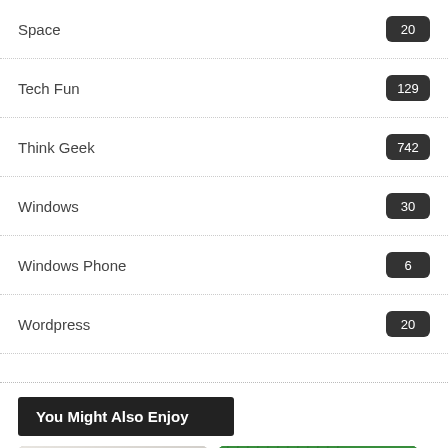Space 20
Tech Fun 129
Think Geek 742
Windows 30
Windows Phone 6
Wordpress 20
You Might Also Enjoy
[Figure (photo): Two people in a light room, one with arm raised; accessibility icon overlay in bottom left]
[Figure (photo): Green movie poster with rain and umbrella, text from Toy Story and Cars creators]